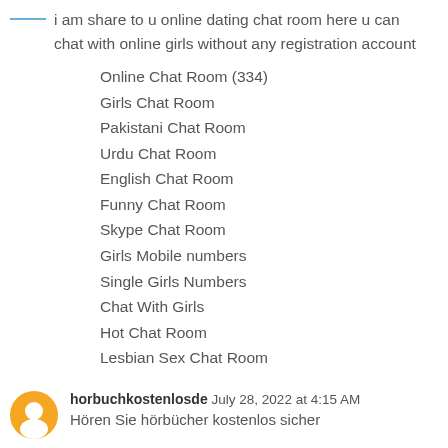i am share to u online dating chat room here u can chat with online girls without any registration account
Online Chat Room (334)
Girls Chat Room
Pakistani Chat Room
Urdu Chat Room
English Chat Room
Funny Chat Room
Skype Chat Room
Girls Mobile numbers
Single Girls Numbers
Chat With Girls
Hot Chat Room
Lesbian Sex Chat Room
horbuchkostenlosde July 28, 2022 at 4:15 AM
Hören Sie hörbücher kostenlos sicher
Reply